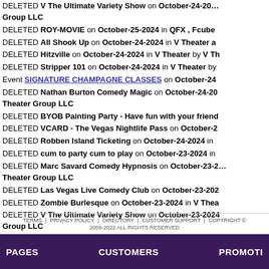DELETED V The Ultimate Variety Show on October-24-2024 in ... Group LLC
DELETED ROY-MOVIE on October-25-2024 in QFX , Fcube
DELETED All Shook Up on October-24-2024 in V Theater a
DELETED Hitzville on October-24-2024 in V Theater by V Th
DELETED Stripper 101 on October-24-2024 in V Theater by
Event SIGNATURE CHAMPAGNE CLASSES on October-24
DELETED Nathan Burton Comedy Magic on October-24-2024 ... Theater Group LLC
DELETED BYOB Painting Party - Have fun with your friend
DELETED VCARD - The Vegas Nightlife Pass on October-2
DELETED Robben Island Ticketing on October-24-2024 in
DELETED cum to party cum to play on October-23-2024 in
DELETED Marc Savard Comedy Hypnosis on October-23-2... Theater Group LLC
DELETED Las Vegas Live Comedy Club on October-23-202
DELETED Zombie Burlesque on October-23-2024 in V Thea
DELETED V The Ultimate Variety Show on October-23-2024 ... Group LLC
DELETED ROY-MOVIE on October-24-2024 in QFX , Fcube
TERMS | PRIVACY POLICY | DIRECTORY | CUSTOMER SUPPORT | COPYRIGHT © 2009-2022 ALL RIGHTS RESERVED
PAGES   CUSTOMERS   PROMOTI